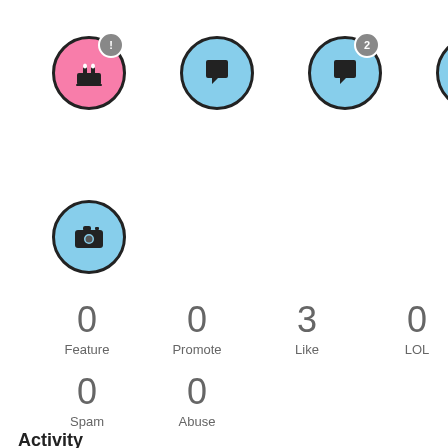[Figure (illustration): Row of four circular icon buttons: a pink circle with birthday cake and '!' badge, a blue circle with speech bubble (no badge), a blue circle with speech bubble and '2' badge, a blue circle with speech bubble and '3' badge]
[Figure (illustration): A single blue circle icon with a camera icon inside, no badge]
0
Feature
0
Promote
3
Like
0
LOL
0
Spam
0
Abuse
Activity
Not much happening here, yet.